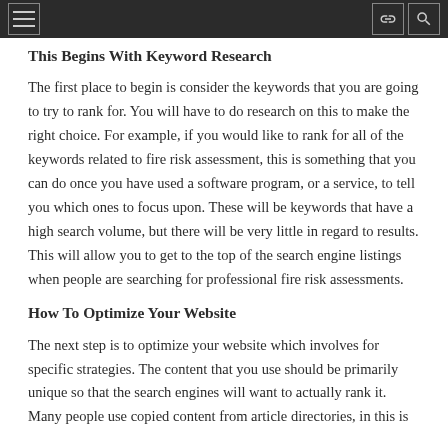This Begins With Keyword Research
The first place to begin is consider the keywords that you are going to try to rank for. You will have to do research on this to make the right choice. For example, if you would like to rank for all of the keywords related to fire risk assessment, this is something that you can do once you have used a software program, or a service, to tell you which ones to focus upon. These will be keywords that have a high search volume, but there will be very little in regard to results. This will allow you to get to the top of the search engine listings when people are searching for professional fire risk assessments.
How To Optimize Your Website
The next step is to optimize your website which involves for specific strategies. The content that you use should be primarily unique so that the search engines will want to actually rank it. Many people use copied content from article directories, in this is